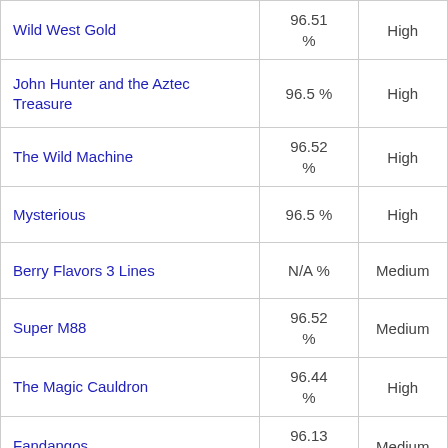| Wild West Gold | 96.51 % | High |
| John Hunter and the Aztec Treasure | 96.5 % | High |
| The Wild Machine | 96.52 % | High |
| Mysterious | 96.5 % | High |
| Berry Flavors 3 Lines | N/A % | Medium |
| Super M88 | 96.52 % | Medium |
| The Magic Cauldron | 96.44 % | High |
| Fandangos | 96.13 % | Medium |